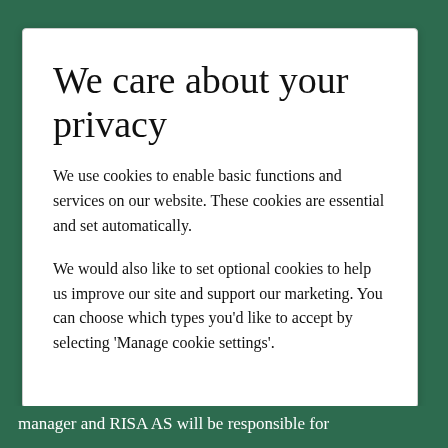We care about your privacy
We use cookies to enable basic functions and services on our website. These cookies are essential and set automatically.
We would also like to set optional cookies to help us improve our site and support our marketing. You can choose which types you'd like to accept by selecting 'Manage cookie settings'.
manager and RISA AS will be responsible for